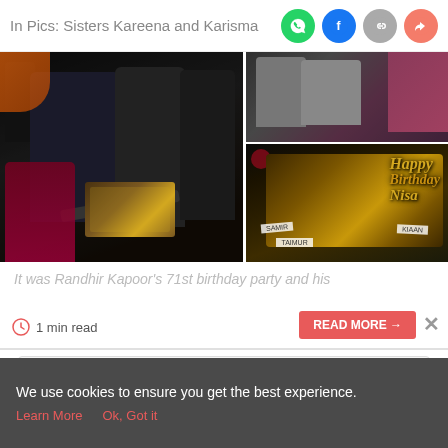In Pics: Sisters Kareena and Karisma
[Figure (photo): Photo collage showing two party photos — left: people holding a birthday cake at an event, right top: people at party, right bottom: close-up of a decorated Happy Birthday cake with golden lettering and name tags reading Samir, Kiaan, Taimur]
It was Randhir Kapoor's 71st birthday party and his
1 min read
READ MORE →
[Figure (infographic): Advertisement banner for Foreverspin METALMUSEUM™ with OPEN button]
We use cookies to ensure you get the best experience.
Learn More   Ok, Got it